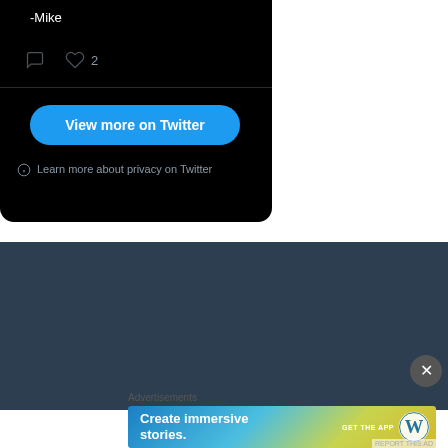[Figure (screenshot): Twitter/X embedded tweet card with dark background showing '-Mike' author signature, comment icon, heart icon with count 2, a blue 'View more on Twitter' button, and a privacy info link at the bottom of the card.]
Advertisements
[Figure (screenshot): WordPress advertisement banner with gradient background (blue to yellow-green). Left side text: 'Create immersive stories.' Center-right: 'GET THE APP' with WordPress logo circle on the right.]